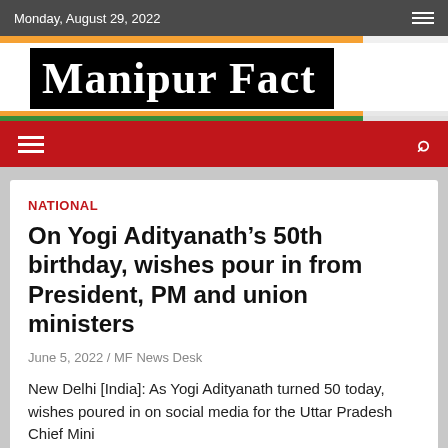Monday, August 29, 2022
[Figure (logo): Manipur Fact logo — white serif text on black background]
NATIONAL
On Yogi Adityanath’s 50th birthday, wishes pour in from President, PM and union ministers
June 5, 2022 / MF News Desk
New Delhi [India]: As Yogi Adityanath turned 50 today, wishes poured in on social media for the Uttar Pradesh Chief Minister.